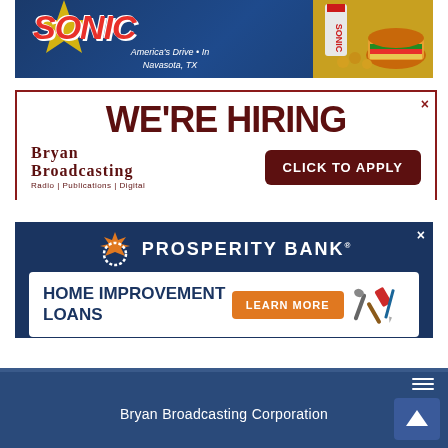[Figure (photo): Sonic Drive-In advertisement with logo, 'America's Drive-In Navasota, TX' text, and food imagery including burger and drink on dark blue background]
[Figure (photo): Bryan Broadcasting 'We're Hiring' advertisement with 'Click to Apply' button, showing Radio | Publications | Digital tagline]
[Figure (photo): Prosperity Bank advertisement promoting Home Improvement Loans with 'Learn More' button and tools imagery on dark blue background]
Bryan Broadcasting Corporation